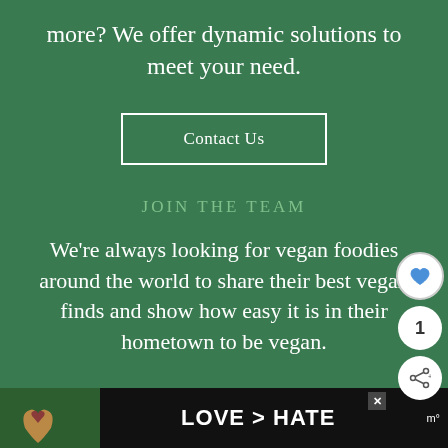more? We offer dynamic solutions to meet your need.
Contact Us
JOIN THE TEAM
We're always looking for vegan foodies around the world to share their best vegan finds and show how easy it is in their hometown to be vegan.
[Figure (screenshot): Advertisement banner at the bottom with hands forming a heart shape and text LOVE > HATE on dark background]